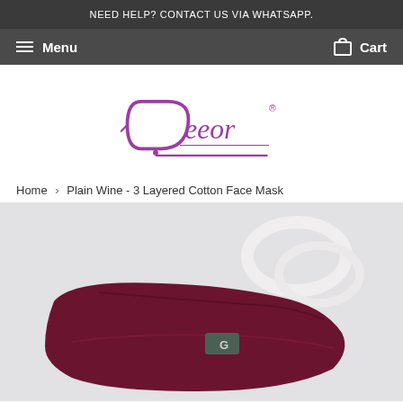NEED HELP? CONTACT US VIA WHATSAPP.
Menu   Cart
[Figure (logo): Deeor brand logo in purple cursive script]
Home › Plain Wine - 3 Layered Cotton Face Mask
[Figure (photo): Wine/maroon colored 3-layered cotton face mask with elastic ear loops displayed on a light gray fabric background, with a small brand tag visible]